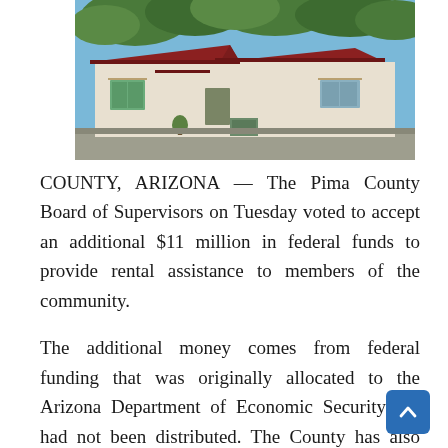[Figure (photo): Exterior photo of a single-story residential building with white stucco walls and a dark red metal roof, with trees in the background and a parking area in front.]
COUNTY, ARIZONA — The Pima County Board of Supervisors on Tuesday voted to accept an additional $11 million in federal funds to provide rental assistance to members of the community.
The additional money comes from federal funding that was originally allocated to the Arizona Department of Economic Security but had not been distributed. The County has also requested